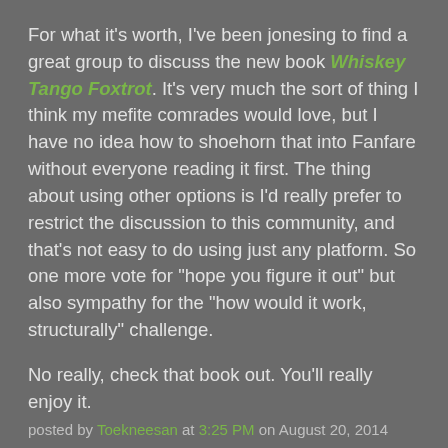For what it's worth, I've been jonesing to find a great group to discuss the new book Whiskey Tango Foxtrot. It's very much the sort of thing I think my mefite comrades would love, but I have no idea how to shoehorn that into Fanfare without everyone reading it first. The thing about using other options is I'd really prefer to restrict the discussion to this community, and that's not easy to do using just any platform. So one more vote for "hope you figure it out" but also sympathy for the "how would it work, structurally" challenge.
No really, check that book out. You'll really enjoy it.
posted by Toekneesan at 3:25 PM on August 20, 2014
Night_owl: "I've had people look at me like I'm crazy for refusing to watch a movie because it might ruin my mental